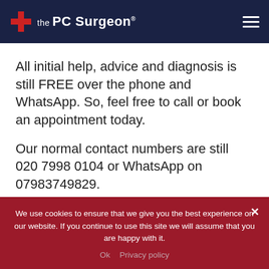the PC Surgeon
All initial help, advice and diagnosis is still FREE over the phone and WhatsApp. So, feel free to call or book an appointment today.
Our normal contact numbers are still 020 7998 0104 or WhatsApp on 07983749829.
BOOK AN APPOINTMENT
We use cookies to ensure that we give you the best experience on our website. If you continue to use this site we will assume that you are happy with it.
Ok  Privacy policy